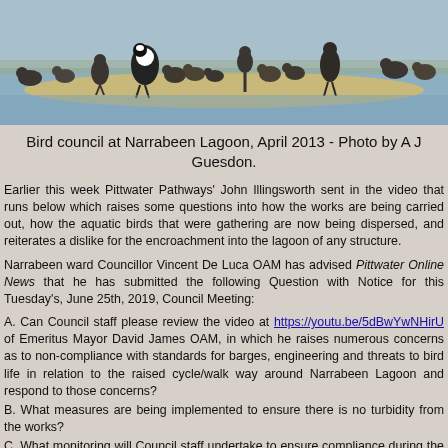[Figure (photo): Photograph of birds (ducks, geese, and other waterbirds) gathered along the shoreline of Narrabeen Lagoon, standing on a sandy spit in shallow water with grey sky/water background.]
Bird council at Narrabeen Lagoon, April 2013 - Photo by A J Guesdon.
Earlier this week Pittwater Pathways' John Illingsworth sent in the video that runs below which raises some questions into how the works are being carried out, how the aquatic birds that were gathering are now being dispersed, and reiterates a dislike for the encroachment into the lagoon of any structure.
Narrabeen ward Councillor Vincent De Luca OAM has advised Pittwater Online News that he has submitted the following Question with Notice for this Tuesday's, June 25th, 2019, Council Meeting:
A. Can Council staff please review the video at https://youtu.be/5dBwYwNHirU of Emeritus Mayor David James OAM, in which he raises numerous concerns as to non-compliance with standards for barges, engineering and threats to bird life in relation to the raised cycle/walk way around Narrabeen Lagoon and respond to those concerns?
B. What measures are being implemented to ensure there is no turbidity from the works?
C. What monitoring will Council staff undertake to ensure compliance during the works?
D. What action has Council taken and will continue to take to protect the Black